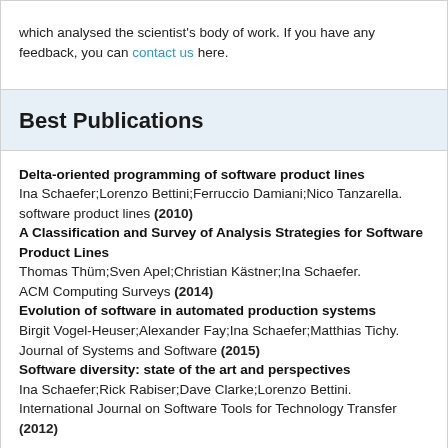which analysed the scientist's body of work. If you have any feedback, you can contact us here.
Best Publications
Delta-oriented programming of software product lines
Ina Schaefer;Lorenzo Bettini;Ferruccio Damiani;Nico Tanzarella.
software product lines (2010)
A Classification and Survey of Analysis Strategies for Software Product Lines
Thomas Thüm;Sven Apel;Christian Kästner;Ina Schaefer.
ACM Computing Surveys (2014)
Evolution of software in automated production systems
Birgit Vogel-Heuser;Alexander Fay;Ina Schaefer;Matthias Tichy.
Journal of Systems and Software (2015)
Software diversity: state of the art and perspectives
Ina Schaefer;Rick Rabiser;Dave Clarke;Lorenzo Bettini.
International Journal on Software Tools for Technology Transfer (2012)